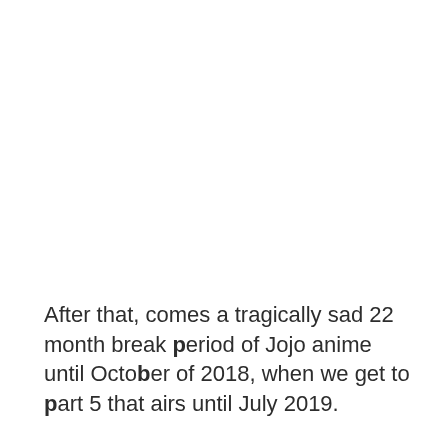After that, comes a tragically sad 22 month break period of Jojo anime until October of 2018, when we get to part 5 that airs until July 2019.